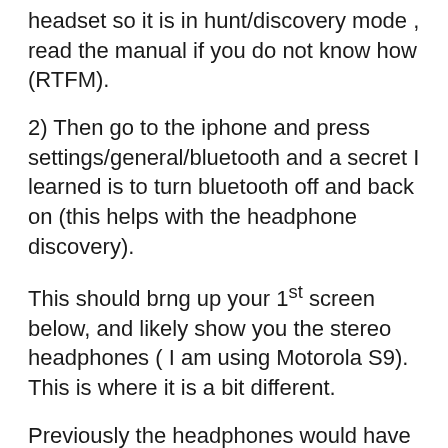headset so it is in hunt/discovery mode , read the manual if you do not know how (RTFM).
2) Then go to the iphone and press settings/general/bluetooth and a secret I learned is to turn bluetooth off and back on (this helps with the headphone discovery).
This should brng up your 1st screen below, and likely show you the stereo headphones ( I am using Motorola S9). This is where it is a bit different.
Previously the headphones would have sinked ontheir own, now you simply touch the not connected words when they show up this then triggered the pairing of the headphones to the iPhone. Subtle but different